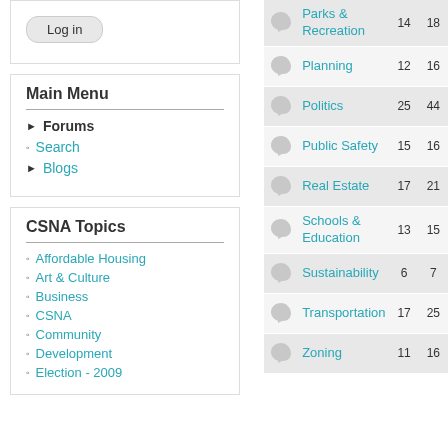Log in
Main Menu
Forums
Search
Blogs
CSNA Topics
Affordable Housing
Art & Culture
Business
CSNA
Community
Development
Election - 2009
| Topic | Posts | Threads |
| --- | --- | --- |
| Parks & Recreation | 14 | 18 |
| Planning | 12 | 16 |
| Politics | 25 | 44 |
| Public Safety | 15 | 16 |
| Real Estate | 17 | 21 |
| Schools & Education | 13 | 15 |
| Sustainability | 6 | 7 |
| Transportation | 17 | 25 |
| Zoning | 11 | 16 |